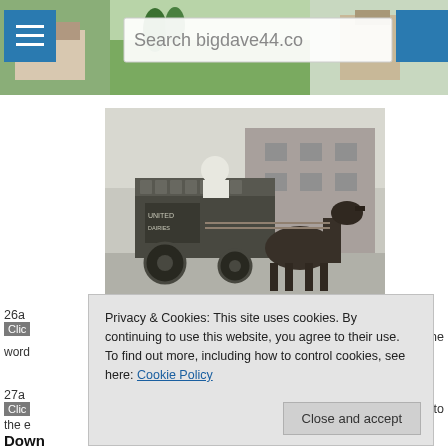[Figure (screenshot): Website header with hamburger menu button, countryside background image, search bar showing 'Search bigdave44.co', and a blue button on the right]
[Figure (photo): Black and white photograph of a horse-drawn milk cart with a milkman seated on top, in front of a brick building. The cart has 'United Dairies' written on it.]
26a
Clic
the
word
Privacy & Cookies: This site uses cookies. By continuing to use this website, you agree to their use. To find out more, including how to control cookies, see here: Cookie Policy
Close and accept
27a
Clic
it to
the e
Down